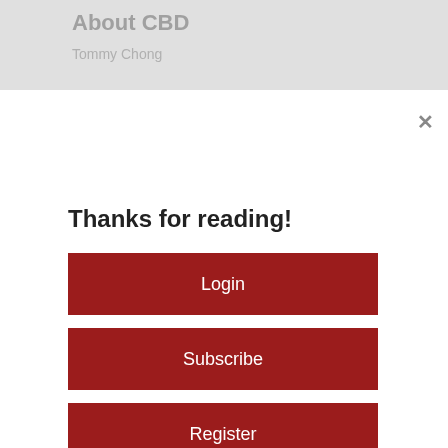About CBD
Tommy Chong
Thanks for reading!
Login
Subscribe
Register
You've read your 5 free stories for the month. You may register to receive five more free stories this month and ten stories each month going forward.